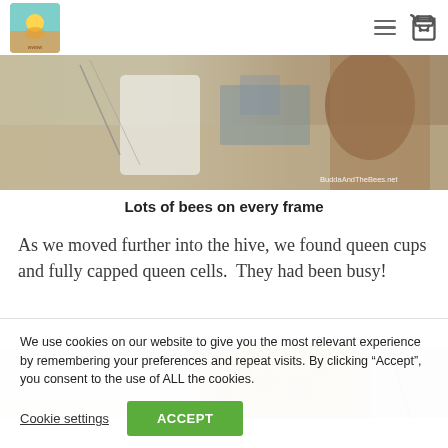BuddaAndTheBees.net navigation header with logo and cart icon
[Figure (photo): Wide horizontal photo strip showing beekeeper activity outdoors, partially cropped. Watermark reads 'BuddaAndTheBees.net']
Lots of bees on every frame
As we moved further into the hive, we found queen cups and fully capped queen cells.  They had been busy!
[Figure (photo): Wide horizontal photo strip showing bees on honeycomb frame, partially visible]
We use cookies on our website to give you the most relevant experience by remembering your preferences and repeat visits. By clicking “Accept”, you consent to the use of ALL the cookies.
Cookie settings | ACCEPT